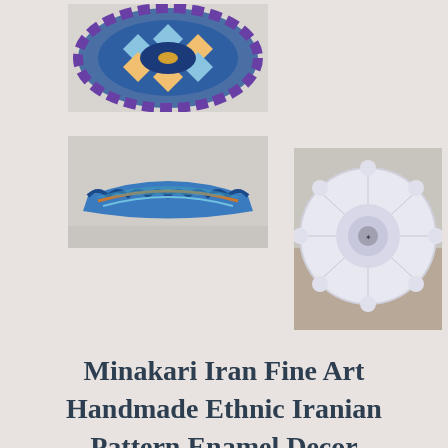[Figure (photo): Top-down view of a decorative Iranian enamel bowl with blue geometric patterns]
[Figure (photo): Side view of a flat decorative Iranian enamel bowl with turquoise and blue patterns on a scalloped edge]
[Figure (photo): Top-down view of a white quilted glass bowl with a small emblem in the center]
Minakari Iran Fine Art Handmade Ethnic Iranian Pattern Enamel Decor Painting